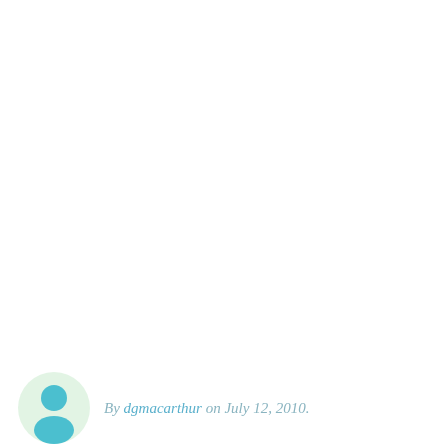By dgmacarthur on July 12, 2010.